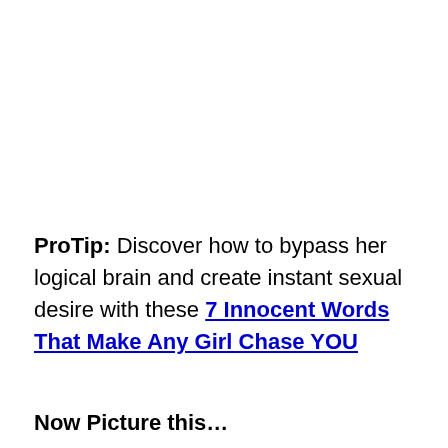ProTip: Discover how to bypass her logical brain and create instant sexual desire with these 7 Innocent Words That Make Any Girl Chase YOU
Now Picture this…